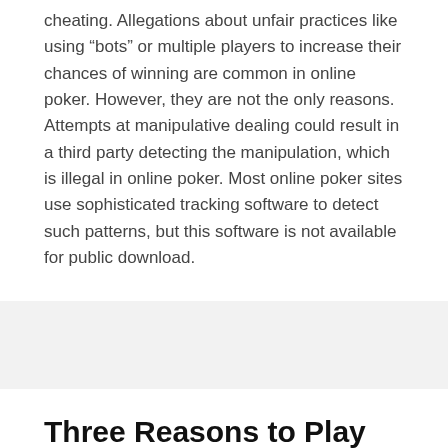cheating. Allegations about unfair practices like using “bots” or multiple players to increase their chances of winning are common in online poker. However, they are not the only reasons. Attempts at manipulative dealing could result in a third party detecting the manipulation, which is illegal in online poker. Most online poker sites use sophisticated tracking software to detect such patterns, but this software is not available for public download.
Three Reasons to Play the US Lottery Online